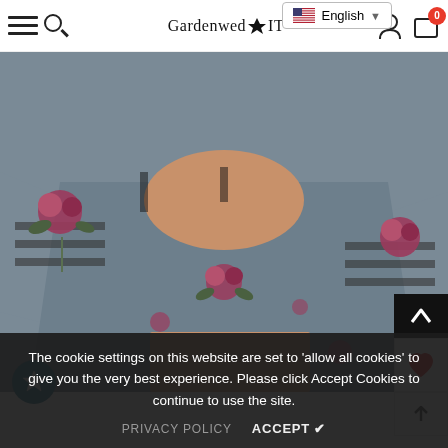[Figure (screenshot): E-commerce website header with hamburger menu, search icon, Gardenwed logo, account icon, and cart icon with badge showing 0. A language selector dropdown shows 'English' with US flag.]
[Figure (photo): Product photo of a woman wearing a floral print mini dress/romper in dark grey/steel blue with rose floral pattern and mesh cutout sleeves. The lower body and legs are visible.]
The cookie settings on this website are set to 'allow all cookies' to give you the very best experience. Please click Accept Cookies to continue to use the site.
PRIVACY POLICY    ACCEPT ✔